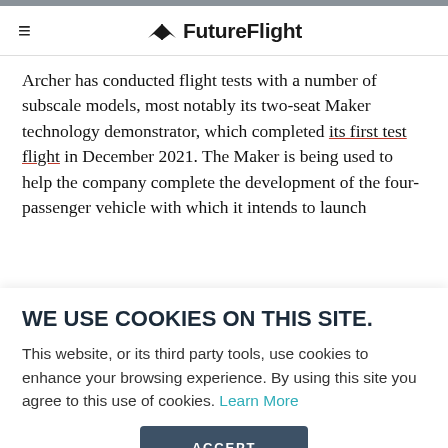≡  FutureFlight
Archer has conducted flight tests with a number of subscale models, most notably its two-seat Maker technology demonstrator, which completed its first test flight in December 2021. The Maker is being used to help the company complete the development of the four-passenger vehicle with which it intends to launch
WE USE COOKIES ON THIS SITE.
This website, or its third party tools, use cookies to enhance your browsing experience. By using this site you agree to this use of cookies. Learn More
ACCEPT